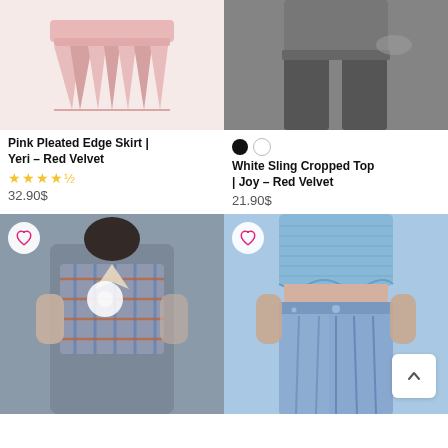[Figure (photo): Pink pleated edge skirt product photo on white/light pink background]
[Figure (photo): Dark gray/charcoal wide-leg trousers on model, mirror/studio background]
Pink Pleated Edge Skirt | Yeri – Red Velvet
★★★★½
32.90$
Color swatches: black, white
White Sling Cropped Top | Joy – Red Velvet
21.90$
[Figure (photo): Person taking mirror selfie wearing blue and red plaid cropped shirt with collar]
[Figure (photo): Model wearing blue ribbed cropped top with denim pleated mini skirt]